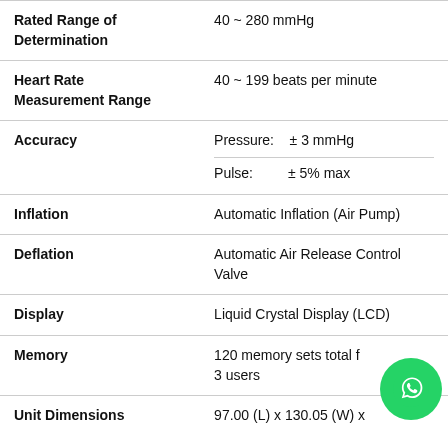| Specification | Value |
| --- | --- |
| Rated Range of Determination | 40 ~ 280 mmHg |
| Heart Rate Measurement Range | 40 ~ 199 beats per minute |
| Accuracy | Pressure: ± 3 mmHg
Pulse: ± 5% max |
| Inflation | Automatic Inflation (Air Pump) |
| Deflation | Automatic Air Release Control Valve |
| Display | Liquid Crystal Display (LCD) |
| Memory | 120 memory sets total for 3 users |
| Unit Dimensions | 97.00 (L) x 130.05 (W) x ... |